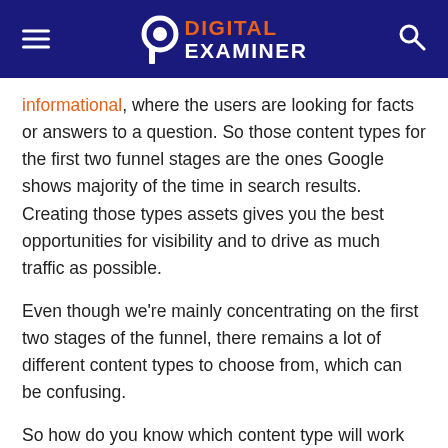Digital Examiner
informational, where the users are looking for facts or answers to a question. So those content types for the first two funnel stages are the ones Google shows majority of the time in search results. Creating those types assets gives you the best opportunities for visibility and to drive as much traffic as possible.
Even though we're mainly concentrating on the first two stages of the funnel, there remains a lot of different content types to choose from, which can be confusing.
So how do you know which content type will work best for a specific keyword?
Intent Dictates Content Type